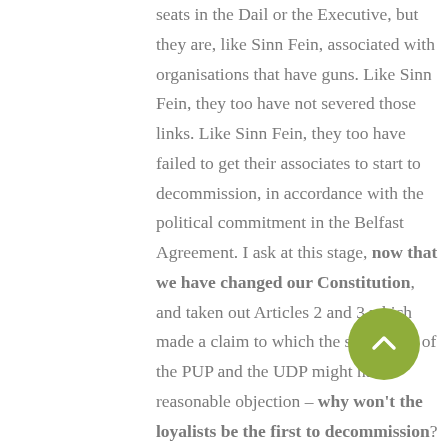seats in the Dail or the Executive, but they are, like Sinn Fein, associated with organisations that have guns. Like Sinn Fein, they too have not severed those links. Like Sinn Fein, they too have failed to get their associates to start to decommission, in accordance with the political commitment in the Belfast Agreement. I ask at this stage, now that we have changed our Constitution, and taken out Articles 2 and 3 which made a claim to which the supporters of the PUP and the UDP might have reasonable objection – why won't the loyalists be the first to decommission? Why are they taking the view that the first bullet to be decommissioned has to be an IRA one? Why can't loyalkists lead by example, now that we've changed our Constitution to facilitate the removal of the threat that existed. Why can't